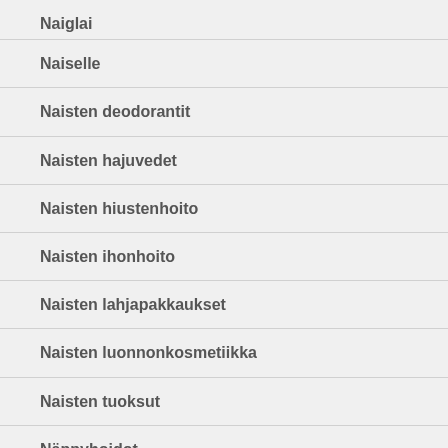Naiglat
Naiselle
Naisten deodorantit
Naisten hajuvedet
Naisten hiustenhoito
Naisten ihonhoito
Naisten lahjapakkaukset
Naisten luonnonkosmetiikka
Naisten tuoksut
Näppyhoidot